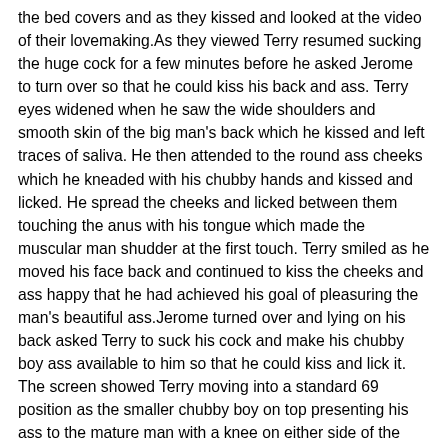the bed covers and as they kissed and looked at the video of their lovemaking.As they viewed Terry resumed sucking the huge cock for a few minutes before he asked Jerome to turn over so that he could kiss his back and ass. Terry eyes widened when he saw the wide shoulders and smooth skin of the big man's back which he kissed and left traces of saliva. He then attended to the round ass cheeks which he kneaded with his chubby hands and kissed and licked. He spread the cheeks and licked between them touching the anus with his tongue which made the muscular man shudder at the first touch. Terry smiled as he moved his face back and continued to kiss the cheeks and ass happy that he had achieved his goal of pleasuring the man's beautiful ass.Jerome turned over and lying on his back asked Terry to suck his cock and make his chubby boy ass available to him so that he could kiss and lick it. The screen showed Terry moving into a standard 69 position as the smaller chubby boy on top presenting his ass to the mature man with a knee on either side of the man's head. Jerome kissed and licked the ass with his full lips and broad thick tongue. Terry gasped when the tongue licked attentively at his anus as the huge hands kneaded his plump